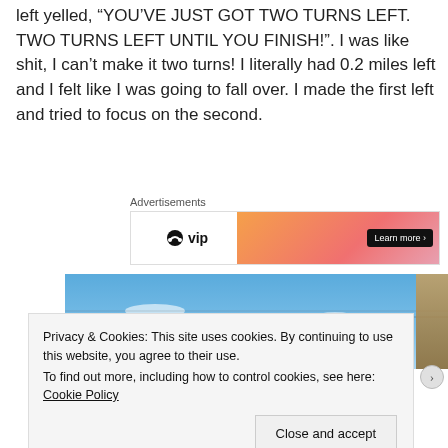left yelled, “YOU’VE JUST GOT TWO TURNS LEFT. TWO TURNS LEFT UNTIL YOU FINISH!”. I was like shit, I can’t make it two turns! I literally had 0.2 miles left and I felt like I was going to fall over. I made the first left and tried to focus on the second.
[Figure (screenshot): Advertisement banner with headphone/VIP logo on left and orange-pink gradient on right with Learn more button]
[Figure (photo): Outdoor photo showing blue sky with light clouds and a tree on the right edge, with power lines visible]
Privacy & Cookies: This site uses cookies. By continuing to use this website, you agree to their use.
To find out more, including how to control cookies, see here: Cookie Policy
Close and accept